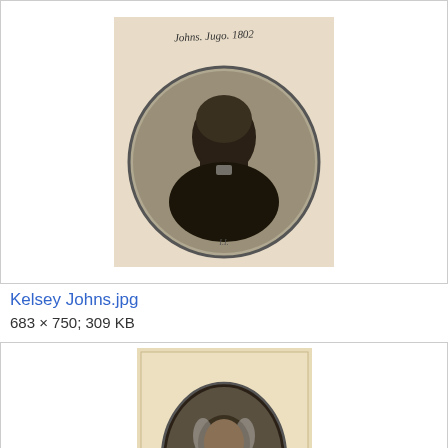[Figure (photo): Circular engraved portrait of a man in profile facing right, with handwritten text above reading 'Johns. Jugo. 1802', on a light background]
Kelsey Johns.jpg
683 × 750; 309 KB
[Figure (photo): Engraved portrait of an older man in an oval frame, with text below reading 'JOST BERNHARD HAFLIGER' and additional smaller text, on a yellowed paper background]
Jost Bernhard Häfliger.jpg
1,149 × 1,811; 1.72 MB